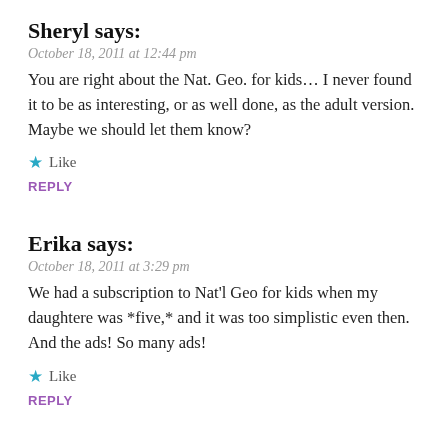Sheryl says:
October 18, 2011 at 12:44 pm
You are right about the Nat. Geo. for kids… I never found it to be as interesting, or as well done, as the adult version. Maybe we should let them know?
★ Like
REPLY
Erika says:
October 18, 2011 at 3:29 pm
We had a subscription to Nat'l Geo for kids when my daughtere was *five,* and it was too simplistic even then. And the ads! So many ads!
★ Like
REPLY